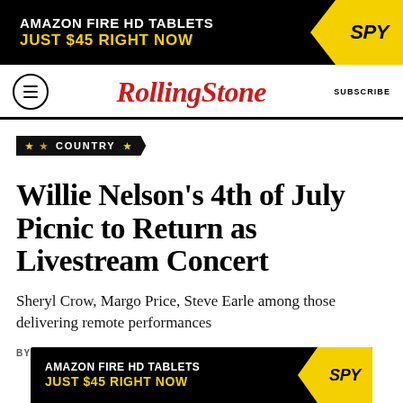[Figure (other): Advertisement banner: black background with white text 'AMAZON FIRE HD TABLETS' and yellow text 'JUST $45 RIGHT NOW', with yellow SPY magazine logo on right]
Rolling Stone  SUBSCRIBE
★ COUNTRY ★
Willie Nelson's 4th of July Picnic to Return as Livestream Concert
Sheryl Crow, Margo Price, Steve Earle among those delivering remote performances
BY JOSEPH HUDAK
[Figure (other): Advertisement banner: black background with white text 'AMAZON FIRE HD TABLETS' and yellow text 'JUST $45 RIGHT NOW', with yellow SPY magazine logo on right]